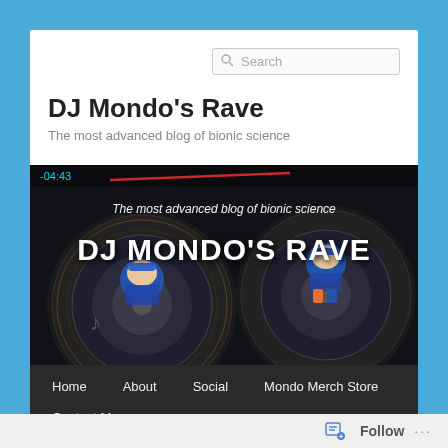[Figure (screenshot): Website screenshot of DJ Mondo's Rave blog showing header with search box, site title, hero banner image with DJ turntable artwork, navigation bar, and follow button in footer]
DJ Mondo's Rave
The most advanced blog of bionic science
[Figure (photo): Hero banner image showing DJ turntables with animated DJ characters, text overlay reading 'The most advanced blog of bionic science' and 'DJ MONDO'S RAVE', timestamp -04:43 visible]
Home
About
Social
Mondo Merch Store
Contact Me
Follow ...